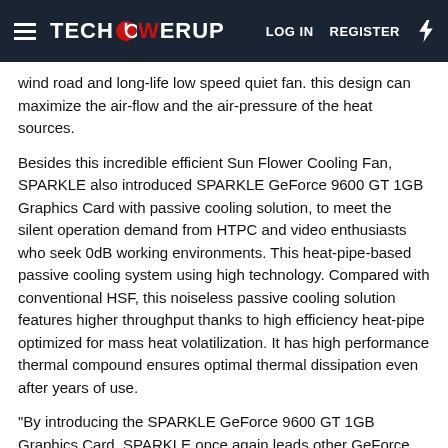TECHPOWERUP  LOG IN  REGISTER
wind road and long-life low speed quiet fan. this design can maximize the air-flow and the air-pressure of the heat sources.
Besides this incredible efficient Sun Flower Cooling Fan, SPARKLE also introduced SPARKLE GeForce 9600 GT 1GB Graphics Card with passive cooling solution, to meet the silent operation demand from HTPC and video enthusiasts who seek 0dB working environments. This heat-pipe-based passive cooling system using high technology. Compared with conventional HSF, this noiseless passive cooling solution features higher throughput thanks to high efficiency heat-pipe optimized for mass heat volatilization. It has high performance thermal compound ensures optimal thermal dissipation even after years of use.
"By introducing the SPARKLE GeForce 9600 GT 1GB Graphics Card, SPARKLE once again leads other GeForce 9600 GT vendors in mainstream market." Said Vivian Su, sales manager of SPARKLE Computer Co., Ltd. "With record-breaking 1GB